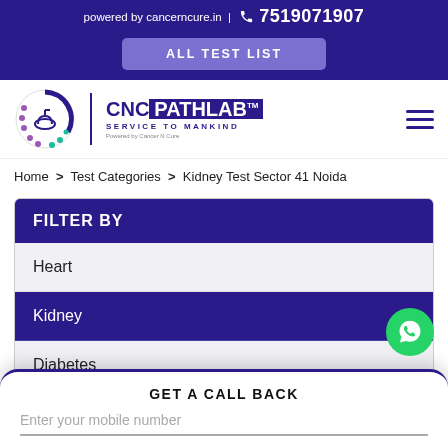powered by cancerncure.in | 7519071907
ALL TEST LIST
[Figure (logo): CNC Pathlab logo — circular CNC emblem with SERVICE TO MANKIND tagline, Powered by Cancer N Cure]
Home > Test Categories > Kidney Test Sector 41 Noida
FILTER BY
Heart
Kidney
Diabetes
GET A CALL BACK
Enter your mobile number